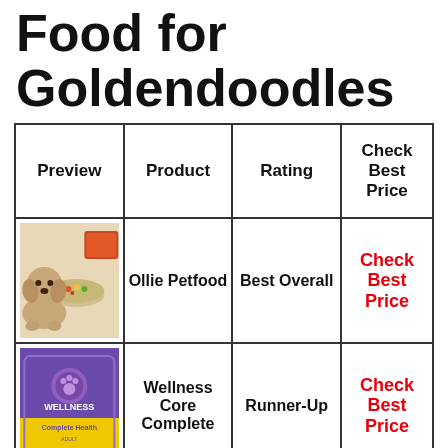Food for Goldendoodles
| Preview | Product | Rating | Check Best Price |
| --- | --- | --- | --- |
| [image: dog with Ollie food bowl] | Ollie Petfood | Best Overall | Check Best Price |
| [image: Wellness Core Complete bag] | Wellness Core Complete | Runner-Up | Check Best Price |
|  |  |  |  |
|  |  |  |  |